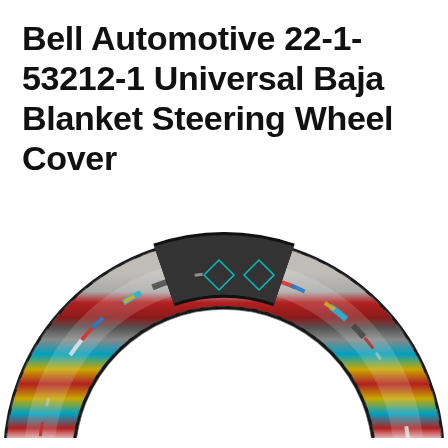Bell Automotive 22-1-53212-1 Universal Baja Blanket Steering Wheel Cover
[Figure (photo): Photo of a colorful Baja blanket fabric steering wheel cover shown as a ring/torus shape, featuring multicolored horizontal stripes in red, blue, teal, yellow, gold, white, black with woven geometric patterns. The cover wraps around a steering wheel rim, with the ring arching from bottom-left to top and back down to bottom-right. The interior of the ring shows white/light background.]